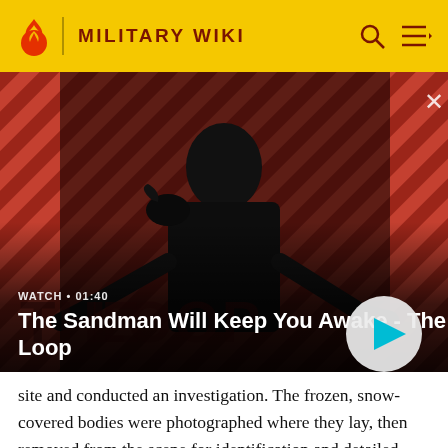MILITARY WIKI
[Figure (screenshot): Video thumbnail showing a dark figure with a raven on their shoulder against a red diagonal striped background. The video is titled 'The Sandman Will Keep You Awake - The Loop' with duration 01:40. A play button is visible in the bottom right corner.]
site and conducted an investigation. The frozen, snow-covered bodies were photographed where they lay, then removed from the scene for identification and detailed post mortem examinations. The aim was gathering evidence to be used as part of the prosecution of the